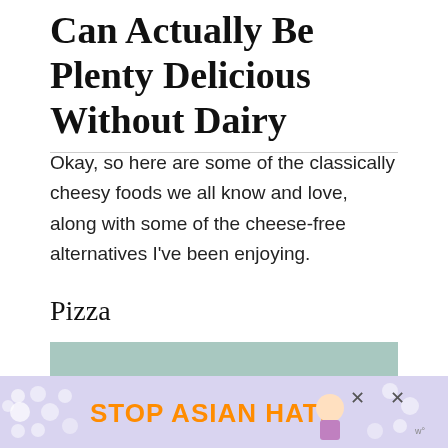Can Actually Be Plenty Delicious Without Dairy
Okay, so here are some of the classically cheesy foods we all know and love, along with some of the cheese-free alternatives I've been enjoying.
Pizza
[Figure (photo): Close-up photo of a pizza topped with cherry tomatoes, corn, herbs, and other vegetables, dairy-free style]
[Figure (infographic): Advertisement banner reading STOP ASIAN HATE with decorative flowers and a character illustration, with close buttons]